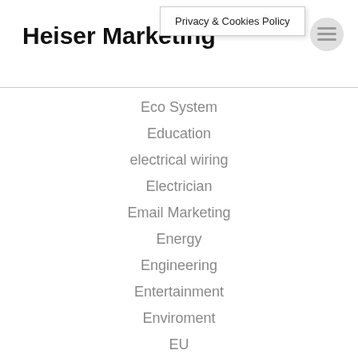Heiser Marketing
Privacy & Cookies Policy
Eco System
Education
electrical wiring
Electrician
Email Marketing
Energy
Engineering
Entertainment
Enviroment
EU
Fashion
Finance
Financial Independence